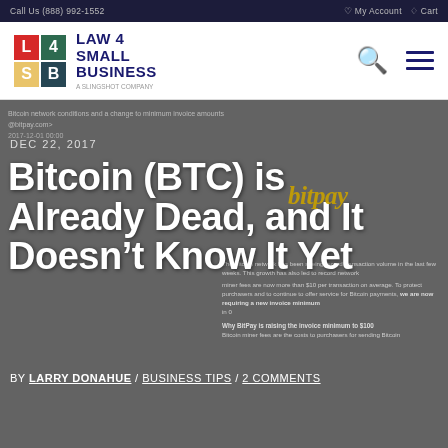Call Us (888) 992-1552 | My Account | Cart
[Figure (logo): Law 4 Small Business logo with colored grid and text]
Bitcoin network conditions and a change to minimum invoice amounts
@bitpay.com>
DEC 22, 2017
Bitcoin (BTC) is Already Dead, and It Doesn't Know It Yet
BY LARRY DONAHUE / BUSINESS TIPS / 2 COMMENTS
Why BitPay is raising the invoice minimum to $100
Bitcoin miner fees are the costs to purchasers for sending Bitcoin